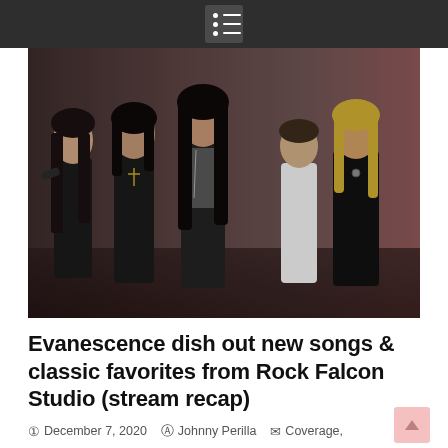Menu
[Figure (photo): Band photo of Evanescence — five members dressed in black rock/gothic style clothing posing against a dark reddish background. Female vocalist is center, flanked by two males on each side.]
Evanescence dish out new songs & classic favorites from Rock Falcon Studio (stream recap)
December 7, 2020   Johnny Perilla   Coverage, News